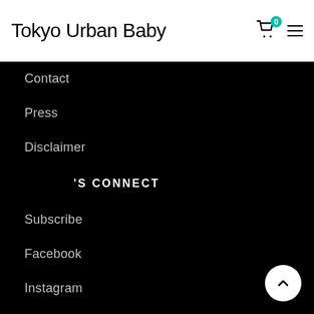Tokyo Urban Baby
Contact
Press
Disclaimer
LET'S CONNECT
Subscribe
Facebook
Instagram
Feedback
USEFUL LINKS
Blog
The Tokyo Guide